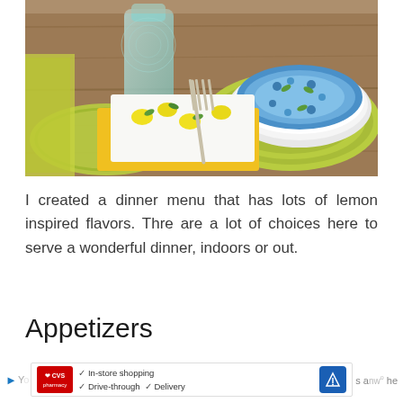[Figure (photo): Outdoor table setting with a green braided placemat, a blue and white decorative plate, yellow and white lemon-printed napkins, silver fork, and a green glass bottle/vase on a wooden table.]
I created a dinner menu that has lots of lemon inspired flavors. Thre are a lot of choices here to serve a wonderful dinner, indoors or out.
Appetizers
[Figure (screenshot): CVS Pharmacy advertisement banner showing: In-store shopping, Drive-through, Delivery options with a blue navigation arrow icon. Partial text visible on sides.]